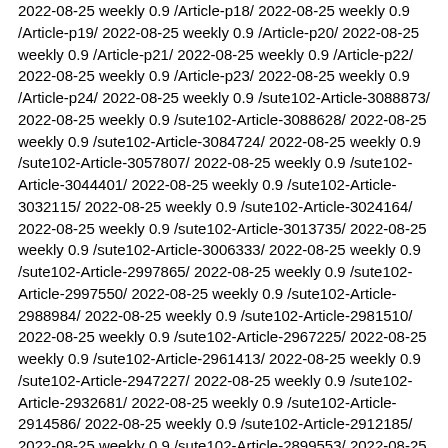2022-08-25 weekly 0.9 /Article-p18/ 2022-08-25 weekly 0.9 /Article-p19/ 2022-08-25 weekly 0.9 /Article-p20/ 2022-08-25 weekly 0.9 /Article-p21/ 2022-08-25 weekly 0.9 /Article-p22/ 2022-08-25 weekly 0.9 /Article-p23/ 2022-08-25 weekly 0.9 /Article-p24/ 2022-08-25 weekly 0.9 /sute102-Article-3088873/ 2022-08-25 weekly 0.9 /sute102-Article-3088628/ 2022-08-25 weekly 0.9 /sute102-Article-3084724/ 2022-08-25 weekly 0.9 /sute102-Article-3057807/ 2022-08-25 weekly 0.9 /sute102-Article-3044401/ 2022-08-25 weekly 0.9 /sute102-Article-3032115/ 2022-08-25 weekly 0.9 /sute102-Article-3024164/ 2022-08-25 weekly 0.9 /sute102-Article-3013735/ 2022-08-25 weekly 0.9 /sute102-Article-3006333/ 2022-08-25 weekly 0.9 /sute102-Article-2997865/ 2022-08-25 weekly 0.9 /sute102-Article-2997550/ 2022-08-25 weekly 0.9 /sute102-Article-2988984/ 2022-08-25 weekly 0.9 /sute102-Article-2981510/ 2022-08-25 weekly 0.9 /sute102-Article-2967225/ 2022-08-25 weekly 0.9 /sute102-Article-2961413/ 2022-08-25 weekly 0.9 /sute102-Article-2947227/ 2022-08-25 weekly 0.9 /sute102-Article-2932681/ 2022-08-25 weekly 0.9 /sute102-Article-2914586/ 2022-08-25 weekly 0.9 /sute102-Article-2912185/ 2022-08-25 weekly 0.9 /sute102-Article-2899553/ 2022-08-25 weekly 0.9 /sute102-Article-2888283/ 2022-08-25 weekly 0.9 /sute102-Article-2866776/ 2022-08-25 weekly 0.9 /sute102-Article-2858244/ 2022-08-25 weekly 0.9 /sute102-Article-2847693/ 2022-08-25 weekly 0.9 /sute102-Article-2834410/ 2022-08-25 weekly 0.9 /sute102-Article-